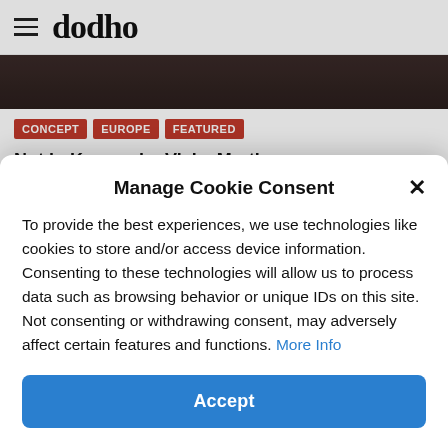dodho
[Figure (photo): Dark toned photograph strip, partial view of a photo from an article]
CONCEPT
EUROPE
FEATURED
Not in Kansas by Vicky Martin
Not In Kansas is a staged series of photographs
Manage Cookie Consent
To provide the best experiences, we use technologies like cookies to store and/or access device information. Consenting to these technologies will allow us to process data such as browsing behavior or unique IDs on this site. Not consenting or withdrawing consent, may adversely affect certain features and functions. More Info
Accept